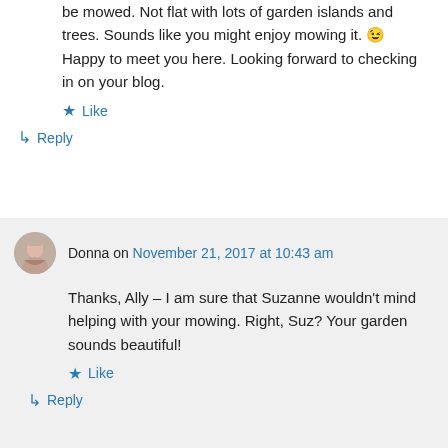be mowed. Not flat with lots of garden islands and trees. Sounds like you might enjoy mowing it. 😉 Happy to meet you here. Looking forward to checking in on your blog.
Like
Reply
Donna on November 21, 2017 at 10:43 am
Thanks, Ally – I am sure that Suzanne wouldn't mind helping with your mowing. Right, Suz? Your garden sounds beautiful!
Like
Reply